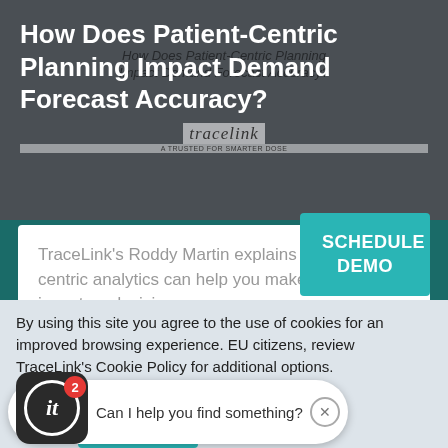How Does Patient-Centric Planning Impact Demand Forecast Accuracy?
[Figure (logo): TraceLink logo with tagline]
TraceLink's Roddy Martin explains how patient-centric analytics can help you make better inventory decisions.
SCHEDULE DEMO
By using this site you agree to the use of cookies for an improved browsing experience. EU citizens, review TraceLink's Cookie Policy for additional options.
More info
Can I help you find something?